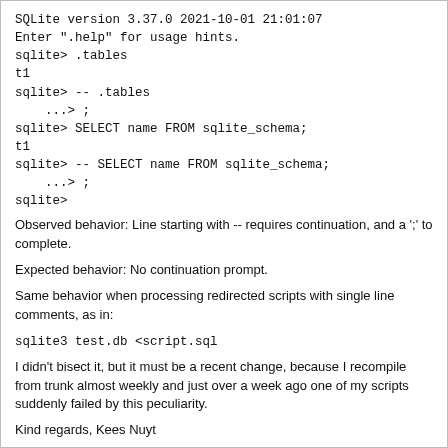SQLite version 3.37.0 2021-10-01 21:01:07
Enter ".help" for usage hints.
sqlite> .tables
t1
sqlite> -- .tables
    ...> ;
sqlite> SELECT name FROM sqlite_schema;
t1
sqlite> -- SELECT name FROM sqlite_schema;
    ...> ;
sqlite>
Observed behavior: Line starting with -- requires continuation, and a ';' to complete.
Expected behavior: No continuation prompt.
Same behavior when processing redirected scripts with single line comments, as in:
sqlite3 test.db <script.sql
I didn't bisect it, but it must be a recent change, because I recompile from trunk almost weekly and just over a week ago one of my scripts suddenly failed by this peculiarity.
Kind regards, Kees Nuyt